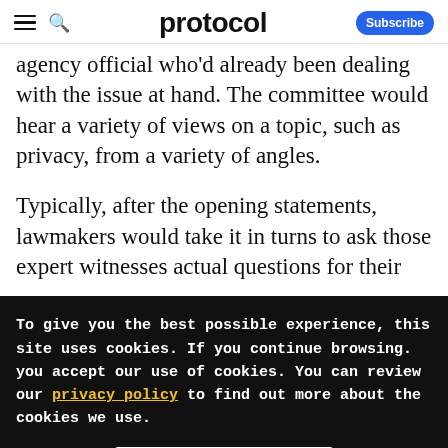protocol — Subscribe
agency official who'd already been dealing with the issue at hand. The committee would hear a variety of views on a topic, such as privacy, from a variety of angles.
Typically, after the opening statements, lawmakers would take it in turns to ask those expert witnesses actual questions for their
To give you the best possible experience, this site uses cookies. If you continue browsing. you accept our use of cookies. You can review our privacy policy to find out more about the cookies we use.
Accept